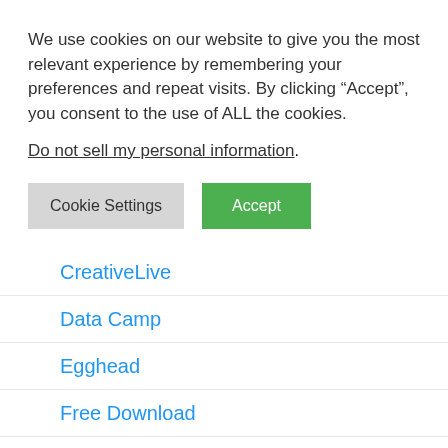We use cookies on our website to give you the most relevant experience by remembering your preferences and repeat visits. By clicking “Accept”, you consent to the use of ALL the cookies.
Do not sell my personal information.
Cookie Settings
Accept
CreativeLive
Data Camp
Egghead
Free Download
Gumroad
Infinite skill
Kelby Training
Laracasts